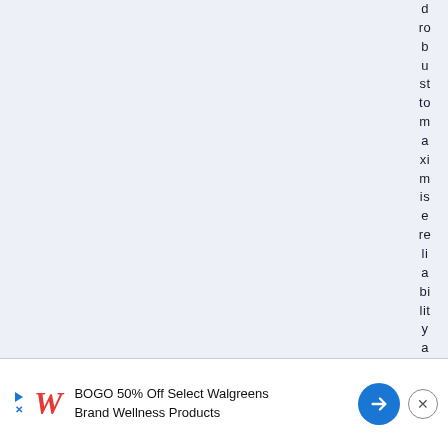d ro b u st to m a xi m is e re li a bi lit y a n d m in i m is e li fe c
[Figure (screenshot): Advertisement banner: Walgreens BOGO 50% Off Select Walgreens Brand Wellness Products]